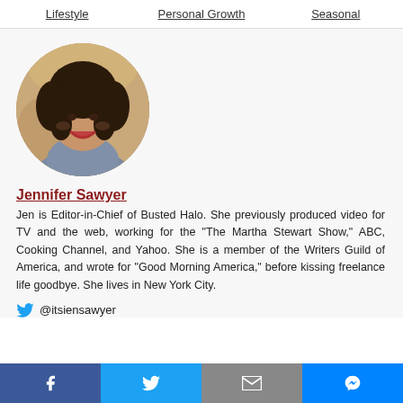Lifestyle | Personal Growth | Seasonal
[Figure (photo): Circular profile photo of Jennifer Sawyer, a woman with curly dark hair and a red smile, wearing a gray top, with a blurred outdoor background.]
Jennifer Sawyer
Jen is Editor-in-Chief of Busted Halo. She previously produced video for TV and the web, working for the “The Martha Stewart Show,” ABC, Cooking Channel, and Yahoo. She is a member of the Writers Guild of America, and wrote for “Good Morning America,” before kissing freelance life goodbye. She lives in New York City.
@itsiensawyer